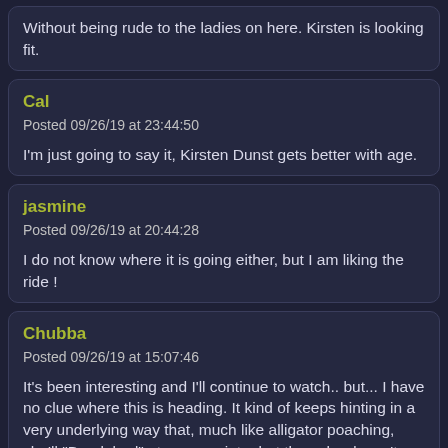Without being rude to the ladies on here. Kirsten is looking fit.
Cal
Posted 09/26/19 at 23:44:50

I'm just going to say it, Kirsten Dunst gets better with age.
jasmine
Posted 09/26/19 at 20:44:28

I do not know where it is going either, but I am liking the ride !
Chubba
Posted 09/26/19 at 15:07:46

It's been interesting and I'll continue to watch.. but... I have no clue where this is heading. It kind of keeps hinting in a very underlying way that, much like alligator poaching, she'll "Break bad" at some point... but then she doesn't when the opportunity is there... so... no clue. Maybe that's the plan -- to keep everyone guessing. :)
Leave a comment: